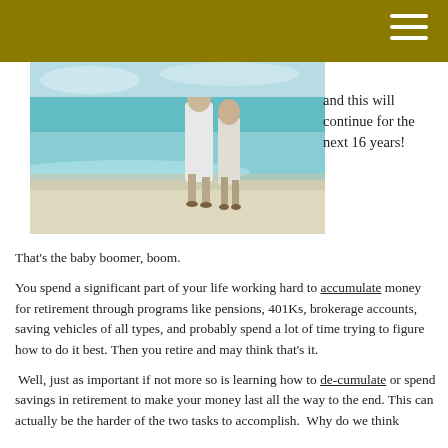[Figure (photo): Two people walking on a beach, wearing white clothing, with turquoise ocean water in the background and white sand]
and this will continue for the next 16 years!
That's the baby boomer, boom.
You spend a significant part of your life working hard to accumulate money for retirement through programs like pensions, 401Ks, brokerage accounts, saving vehicles of all types, and probably spend a lot of time trying to figure how to do it best. Then you retire and may think that's it.
Well, just as important if not more so is learning how to de-cumulate or spend savings in retirement to make your money last all the way to the end. This can actually be the harder of the two tasks to accomplish. Why do we think